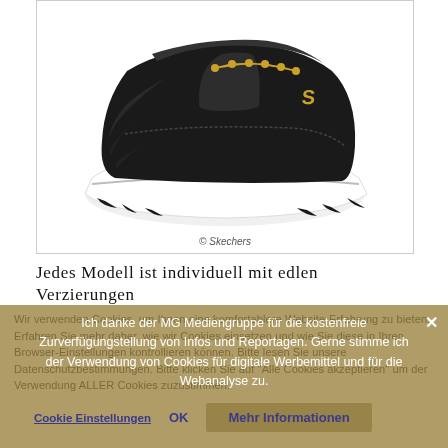[Figure (photo): A black and gold Skechers sneaker / athletic shoe with chunky white sole, photographed from the side/front angle on white background. The shoe has black leather upper with gold lace eyelets and gold 'S' logo. Copyright © Skechers shown at bottom of image box.]
© Skechers
Jedes Modell ist individuell mit edlen Verzierungen
Ich danke der MG Mediengruppe für die kostenfreie Zurverfügungstellung von Infos und Reportagen. Gerne stimme ich der Verwendung von Cookies für digitale Werbemittel und für die Webanalyse zu.